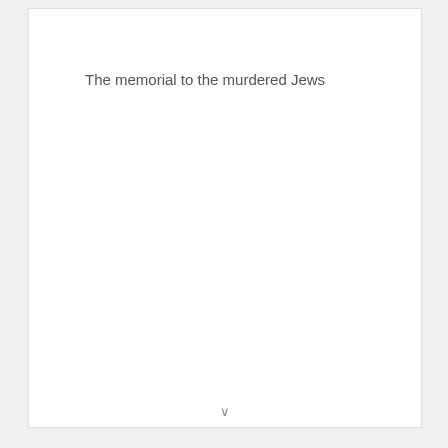The memorial to the murdered Jews